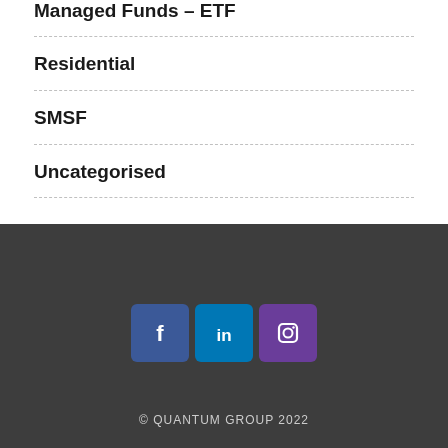Managed Funds – ETF
Residential
SMSF
Uncategorised
[Figure (illustration): Social media icons: Facebook, LinkedIn, Instagram]
© QUANTUM GROUP 2022